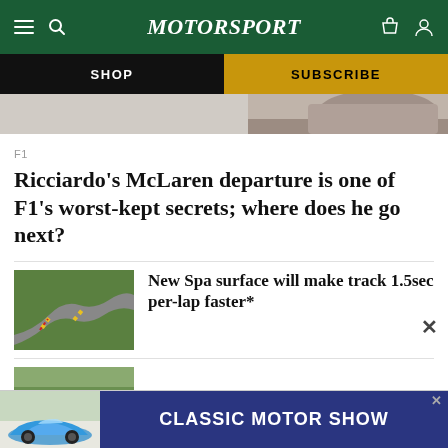Motor Sport
SHOP
SUBSCRIBE
[Figure (photo): Partial view of a person's face/neck, cropped hero image]
F1
Ricciardo's McLaren departure is one of F1's worst-kept secrets; where does he go next?
[Figure (photo): Aerial view of Spa-Francorchamps race track showing the famous curved road sections with green/yellow/red borders]
New Spa surface will make track 1.5sec per-lap faster*
[Figure (photo): Partial view of a car, bottom of page second article thumbnail]
[Figure (photo): Classic blue Porsche 911 advertisement for Classic Motor Show]
CLASSIC MOTOR SHOW